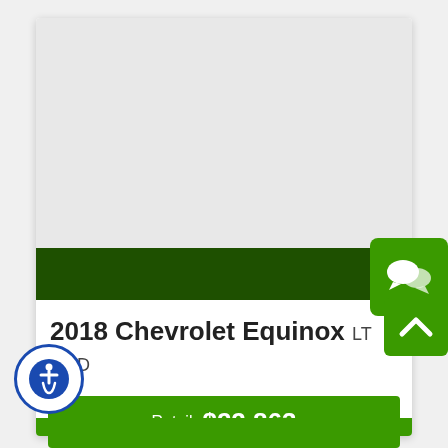[Figure (screenshot): Light gray vehicle image area placeholder]
2018 Chevrolet Equinox LT 2WD
Retail $22,863